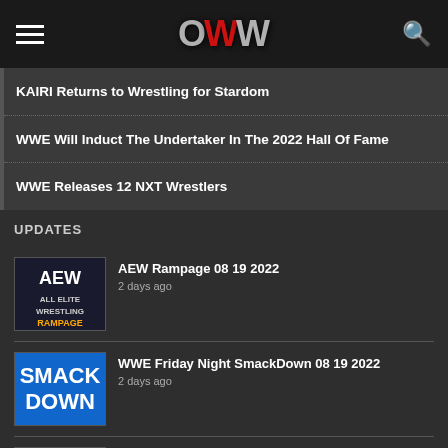OWW
KAIRI Returns to Wrestling for Stardom
WWE Will Induct The Undertaker In The 2022 Hall Of Fame
WWE Releases 12 NXT Wrestlers
UPDATES
[Figure (logo): AEW Rampage logo thumbnail]
AEW Rampage 08 19 2022
2 days ago
[Figure (logo): WWE Friday Night SmackDown logo thumbnail]
WWE Friday Night SmackDown 08 19 2022
2 days ago
[Figure (logo): IMPACT Wrestling logo thumbnail - blank]
IMPACT Wrestling 08 18 2022
2 days ago